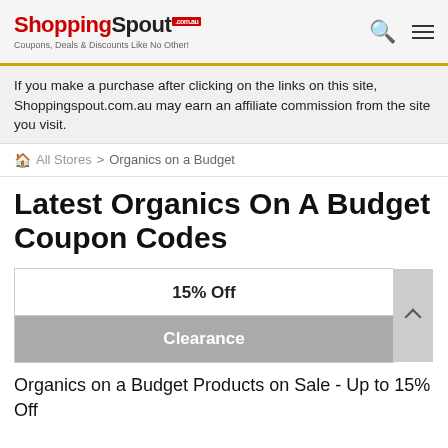ShoppingSpout.com.au — Coupons, Deals & Discounts Like No Other!
If you make a purchase after clicking on the links on this site, Shoppingspout.com.au may earn an affiliate commission from the site you visit.
All Stores > Organics on a Budget
Latest Organics On A Budget Coupon Codes
| 15% Off |
| Clearance |
Organics on a Budget Products on Sale - Up to 15% Off